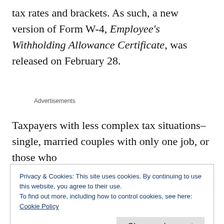tax rates and brackets. As such, a new version of Form W-4, Employee's Withholding Allowance Certificate, was released on February 28.
Advertisements
Taxpayers with less complex tax situations–single, married couples with only one job, or those who
Privacy & Cookies: This site uses cookies. By continuing to use this website, you agree to their use.
To find out more, including how to control cookies, see here: Cookie Policy
Close and accept